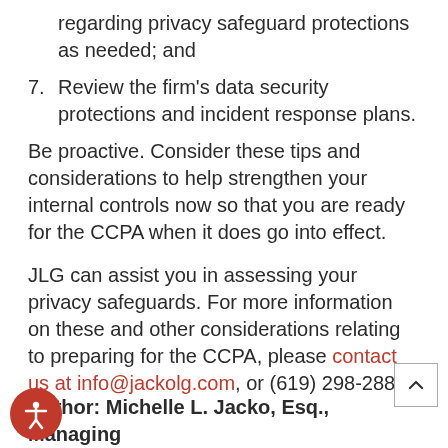regarding privacy safeguard protections as needed; and
7. Review the firm’s data security protections and incident response plans.
Be proactive. Consider these tips and considerations to help strengthen your internal controls now so that you are ready for the CCPA when it does go into effect.
JLG can assist you in assessing your privacy safeguards. For more information on these and other considerations relating to preparing for the CCPA, please contact us at info@jackolg.com, or (619) 298-2880.
Author: Michelle L. Jacko, Esq., Managing